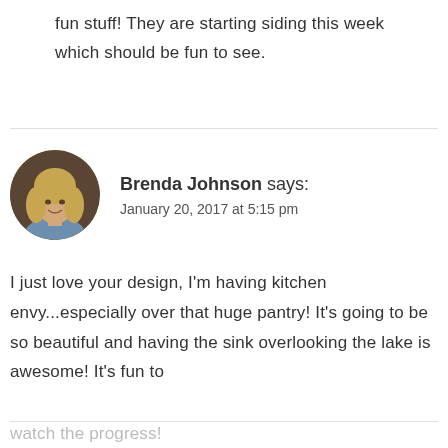fun stuff! They are starting siding this week which should be fun to see.
[Figure (photo): Round avatar photo of Brenda Johnson, a woman with blonde hair]
Brenda Johnson says: January 20, 2017 at 5:15 pm
I just love your design, I'm having kitchen envy...especially over that huge pantry! It's going to be so beautiful and having the sink overlooking the lake is awesome! It's fun to watch the progress!